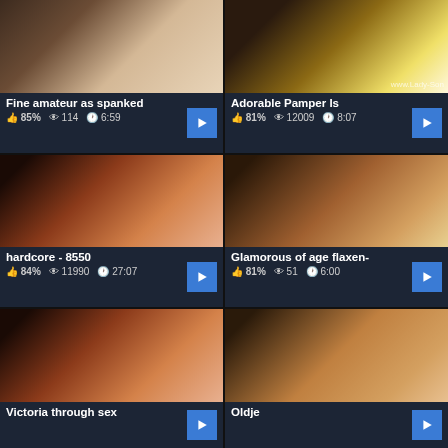Fine amateur as spanked — 85% | 114 views | 6:59
[Figure (screenshot): Video thumbnail showing two people lying in bed]
Adorable Pamper Is — 81% | 12009 views | 8:07
[Figure (screenshot): Video thumbnail showing woman in lingerie on bed with watermark www.Lady-Sonia]
hardcore - 8550 — 84% | 11990 views | 27:07
[Figure (screenshot): Video thumbnail showing couple]
Glamorous of age flaxen- — 81% | 51 views | 6:00
[Figure (screenshot): Video thumbnail showing two people]
Victoria through sex
Oldje